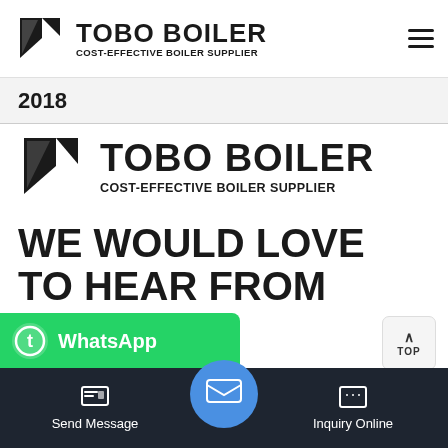[Figure (logo): Tobo Boiler logo with icon and text 'TOBO BOILER / COST-EFFECTIVE BOILER SUPPLIER' in nav bar]
2018
[Figure (logo): Tobo Boiler large logo with icon and text 'TOBO BOILER / COST-EFFECTIVE BOILER SUPPLIER']
WE WOULD LOVE TO HEAR FROM YOU.
Feel free to reach out if you want to collaborate with us, or simply have a chat.
[Figure (screenshot): WhatsApp banner button in green]
Send Message | Inquiry Online